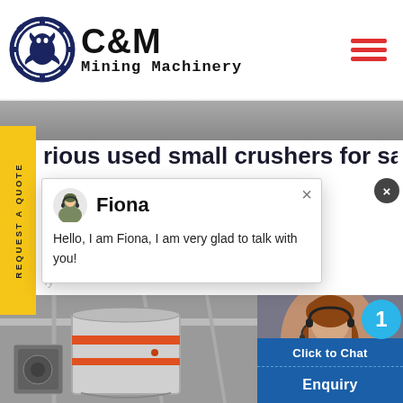[Figure (logo): C&M Mining Machinery logo with eagle gear circle emblem]
[Figure (screenshot): Grey hero banner strip at top of webpage]
rious used small crushers for sale
[Figure (infographic): Chat popup with agent Fiona avatar saying Hello, I am Fiona, I am very glad to talk with you!]
Hello, I am Fiona, I am very glad to talk with you!
[Figure (photo): Industrial crusher machinery photo]
[Figure (photo): Customer support agent photo with headset and blue notification badge showing 1]
Click to Chat
Enquiry